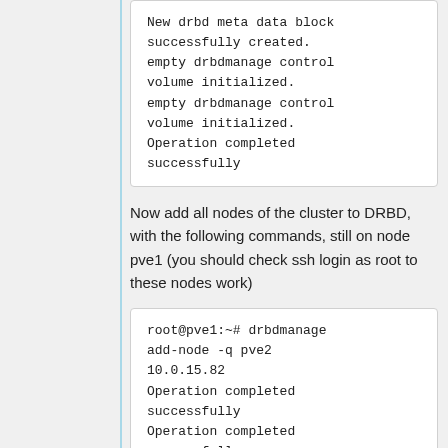New drbd meta data block successfully created.
empty drbdmanage control volume initialized.
empty drbdmanage control volume initialized.
Operation completed successfully
Now add all nodes of the cluster to DRBD, with the following commands, still on node pve1 (you should check ssh login as root to these nodes work)
root@pve1:~# drbdmanage add-node -q pve2 10.0.15.82
Operation completed successfully
Operation completed successfully